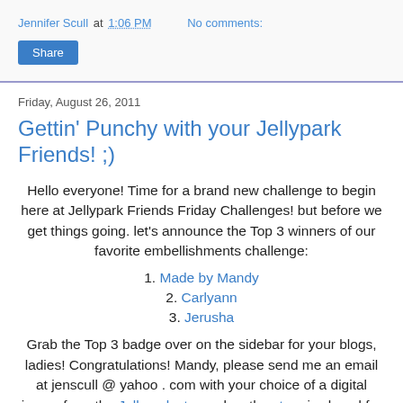Jennifer Scull at 1:06 PM   No comments:
Share
Friday, August 26, 2011
Gettin' Punchy with your Jellypark Friends! ;)
Hello everyone! Time for a brand new challenge to begin here at Jellypark Friends Friday Challenges! but before we get things going. let's announce the Top 3 winners of our favorite embellishments challenge:
1. Made by Mandy
2. Carlyann
3. Jerusha
Grab the Top 3 badge over on the sidebar for your blogs, ladies! Congratulations! Mandy, please send me an email at jenscull @ yahoo . com with your choice of a digital image from the Jellypark store. also, the store is closed for just a few days, but will re-open on Monday, August 29, that gives